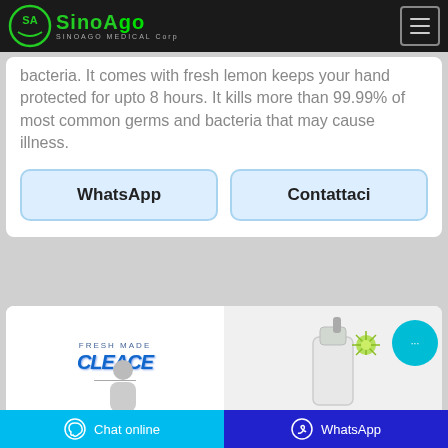[Figure (logo): SinoAgo Medical Corp logo with green circular emblem and green brand name on dark navbar]
bacteria. It comes with fresh lemon keeps your hand protected for upto 8 hours. It kills more than 99.99% of most common germs and bacteria that may cause illness.
WhatsApp
Contattaci
[Figure (screenshot): Cleace branded product image showing product logo on left and soap dispenser with green virus graphic on right]
Chat online | WhatsApp